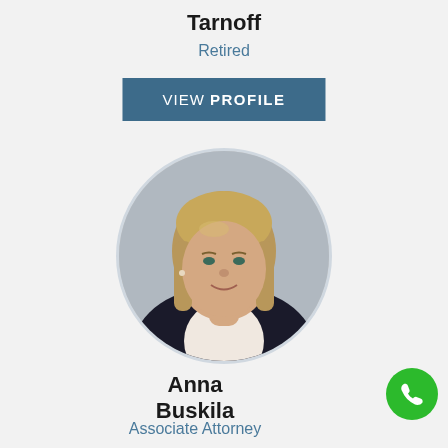Tarnoff
Retired
VIEW PROFILE
[Figure (photo): Professional headshot of Anna Buskila, a woman with straight blonde-brown hair, wearing a black blazer, smiling, circular crop]
Anna Buskila
Associate Attorney